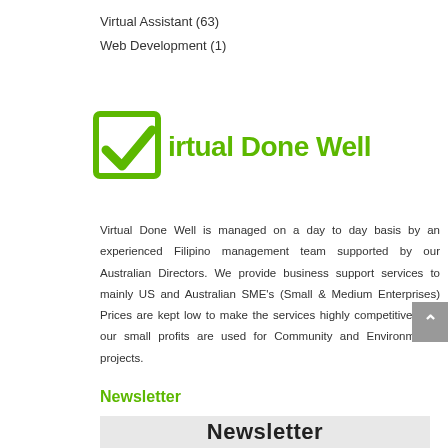Virtual Assistant (63)
Web Development (1)
[Figure (logo): Virtual Done Well logo: a green checkbox with checkmark icon followed by the bold green text 'irtual Done Well']
Virtual Done Well is managed on a day to day basis by an experienced Filipino management team supported by our Australian Directors. We provide business support services to mainly US and Australian SME's (Small & Medium Enterprises) Prices are kept low to make the services highly competitive. And our small profits are used for Community and Environmental projects.
Newsletter
[Figure (other): Newsletter banner with dark bold text 'Newsletter' on a light grey background]